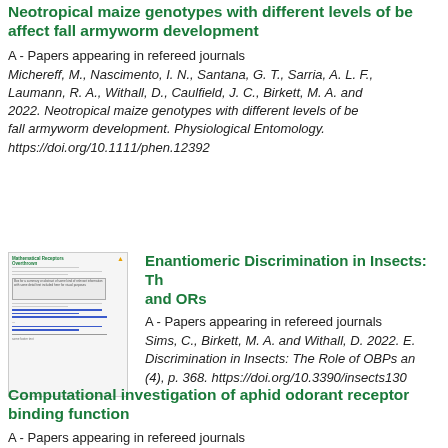Neotropical maize genotypes with different levels of be affect fall armyworm development
A - Papers appearing in refereed journals
Michereff, M., Nascimento, I. N., Santana, G. T., Sarria, A. L. F., Laumann, R. A., Withall, D., Caulfield, J. C., Birkett, M. A. and 2022. Neotropical maize genotypes with different levels of be fall armyworm development. Physiological Entomology. https://doi.org/10.1111/phen.12392
[Figure (screenshot): Thumbnail image of a journal article page for Enantiomeric Discrimination in Insects]
Enantiomeric Discrimination in Insects: Th and ORs
A - Papers appearing in refereed journals
Sims, C., Birkett, M. A. and Withall, D. 2022. E. Discrimination in Insects: The Role of OBPs an (4), p. 368. https://doi.org/10.3390/insects130
Computational investigation of aphid odorant receptor binding function
A - Papers appearing in refereed journals
Sims, C., Withall, D., Oldham, N., Stockman, R. and Birkett, M. Computational investigation of aphid odorant receptor...